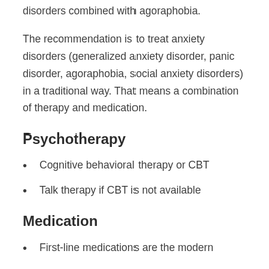disorders combined with agoraphobia.
The recommendation is to treat anxiety disorders (generalized anxiety disorder, panic disorder, agoraphobia, social anxiety disorders) in a traditional way. That means a combination of therapy and medication.
Psychotherapy
Cognitive behavioral therapy or CBT
Talk therapy if CBT is not available
Medication
First-line medications are the modern